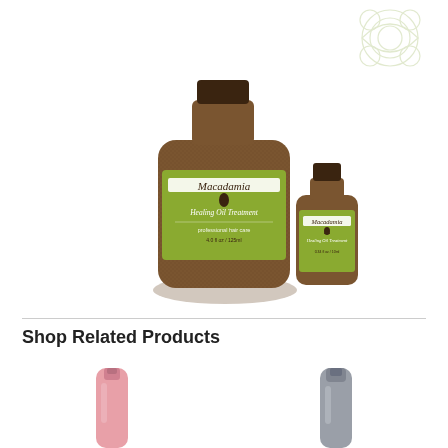[Figure (photo): Two Macadamia Healing Oil Treatment bottles - one large brown textured bottle and one small brown bottle with green labels]
Shop Related Products
[Figure (photo): Pink hair product spray bottle (partial, bottom portion visible)]
[Figure (photo): Gray hair product spray bottle (partial, bottom portion visible)]